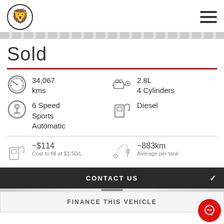Holden dealer logo and hamburger menu
Sold
34,067 kms
2.8L 4 Cylinders
6 Speed Sports Automatic
Diesel
~$114 Cost to fill at $1.50/L
~883km Average per tank
CONTACT US
FINANCE THIS VEHICLE